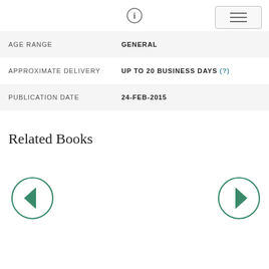info icon and menu button
| AGE RANGE | GENERAL |
| APPROXIMATE DELIVERY | UP TO 20 BUSINESS DAYS (?) |
| PUBLICATION DATE | 24-FEB-2015 |
Related Books
[Figure (illustration): Left navigation arrow button (circle with left-pointing triangle, green outline)]
[Figure (illustration): Right navigation arrow button (circle with right-pointing triangle, green outline)]